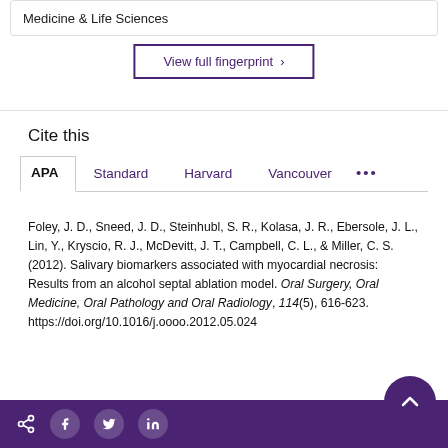Medicine & Life Sciences
View full fingerprint ›
Cite this
APA | Standard | Harvard | Vancouver | ...
Foley, J. D., Sneed, J. D., Steinhubl, S. R., Kolasa, J. R., Ebersole, J. L., Lin, Y., Kryscio, R. J., McDevitt, J. T., Campbell, C. L., & Miller, C. S. (2012). Salivary biomarkers associated with myocardial necrosis: Results from an alcohol septal ablation model. Oral Surgery, Oral Medicine, Oral Pathology and Oral Radiology, 114(5), 616-623. https://doi.org/10.1016/j.oooo.2012.05.024